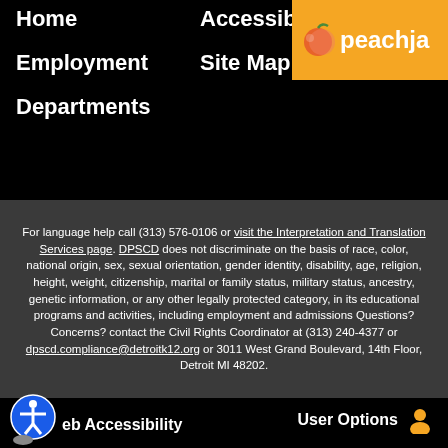Home   Accessibility   peachja
Employment   Site Map
Departments
For language help call (313) 576-0106 or visit the Interpretation and Translation Services page. DPSCD does not discriminate on the basis of race, color, national origin, sex, sexual orientation, gender identity, disability, age, religion, height, weight, citizenship, marital or family status, military status, ancestry, genetic information, or any other legally protected category, in its educational programs and activities, including employment and admissions Questions? Concerns? contact the Civil Rights Coordinator at (313) 240-4377 or dpscd.compliance@detroitk12.org or 3011 West Grand Boulevard, 14th Floor, Detroit MI 48202.
Web Accessibility   User Options